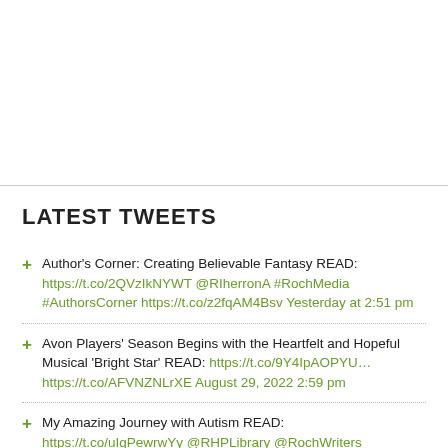LATEST TWEETS
Author's Corner: Creating Believable Fantasy READ: https://t.co/2QVzIkNYWT @RIherronA #RochMedia #AuthorsCorner https://t.co/z2fqAM4Bsv Yesterday at 2:51 pm
Avon Players' Season Begins with the Heartfelt and Hopeful Musical 'Bright Star' READ: https://t.co/9Y4IpAOPYU… https://t.co/AFVNZNLrXE August 29, 2022 2:59 pm
My Amazing Journey with Autism READ: https://t.co/uIqPewrwYy @RHPLibrary @RochWriters #RonSandison #Autism #RHPL #RochMedia August 29, 2022 2:57 pm